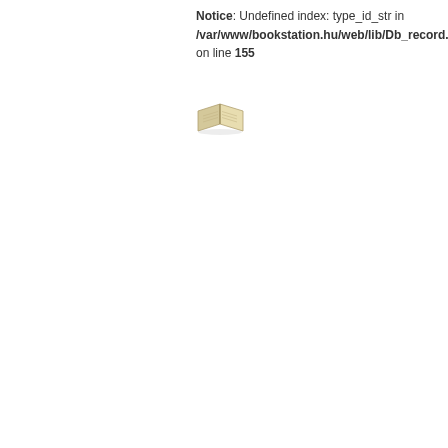Notice: Undefined index: type_id_str in /var/www/bookstation.hu/web/lib/Db_record.php on line 155
[Figure (illustration): Small icon of an open book, beige/tan colored]